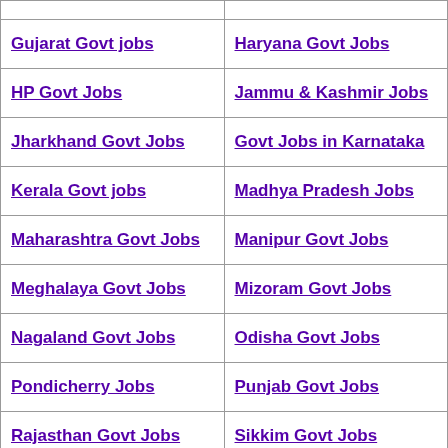| Gujarat Govt jobs | Haryana Govt Jobs |
| HP Govt Jobs | Jammu & Kashmir Jobs |
| Jharkhand Govt Jobs | Govt Jobs in Karnataka |
| Kerala Govt jobs | Madhya Pradesh Jobs |
| Maharashtra Govt Jobs | Manipur Govt Jobs |
| Meghalaya Govt Jobs | Mizoram Govt Jobs |
| Nagaland Govt Jobs | Odisha Govt Jobs |
| Pondicherry Jobs | Punjab Govt Jobs |
| Rajasthan Govt Jobs | Sikkim Govt Jobs |
| TN Govt Jobs | TS Govt Jobs |
| Tripura Govt Jobs | Uttarakhand Govt Jobs |